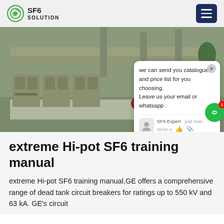SF6 SOLUTION
[Figure (photo): Industrial outdoor electrical substation with SF6 equipment, large pipes and switchgear, workers in blue coveralls visible in background. A chat popup overlay is visible showing a message from SF6 Expert.]
extreme Hi-pot SF6 training manual
extreme Hi-pot SF6 training manual,GE offers a comprehensive range of dead tank circuit breakers for ratings up to 550 kV and 63 kA. GE's circuit